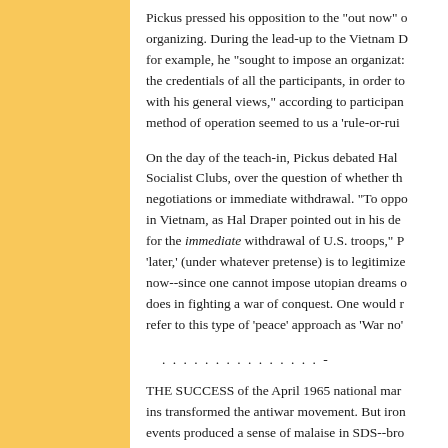Pickus pressed his opposition to the "out now" organizing. During the lead-up to the Vietnam D for example, he "sought to impose an organizat: the credentials of all the participants, in order to with his general views," according to participan method of operation seemed to us a 'rule-or-rui
On the day of the teach-in, Pickus debated Hal Socialist Clubs, over the question of whether th negotiations or immediate withdrawal. "To oppo in Vietnam, as Hal Draper pointed out in his de for the immediate withdrawal of U.S. troops," P 'later,' (under whatever pretense) is to legitimize now--since one cannot impose utopian dreams does in fighting a war of conquest. One would r refer to this type of 'peace' approach as 'War no'
. . . . . . . . . . . . . . . -
THE SUCCESS of the April 1965 national mar ins transformed the antiwar movement. But iron events produced a sense of malaise in SDS--bro by a sense that national protests weren't effectiv
For example, SDS leader Carl Davidson explai march, "I was convinced I was going to read on